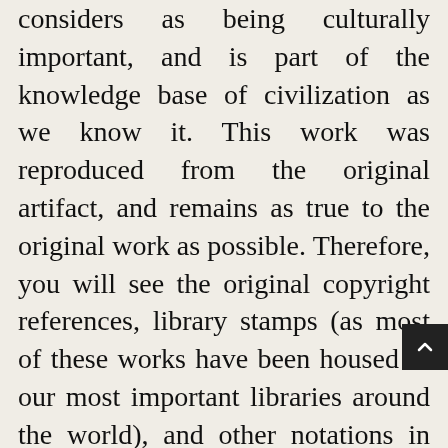considers as being culturally important, and is part of the knowledge base of civilization as we know it. This work was reproduced from the original artifact, and remains as true to the original work as possible. Therefore, you will see the original copyright references, library stamps (as most of these works have been housed in our most important libraries around the world), and other notations in the work.This work is in the public domain in the United States of America, and possibly other nations. Within the United States, you may freely copy and distribute this work, as no entity (individual or corporate) has a copyright on the body of the work.As a reproduction of a historical artifact, this